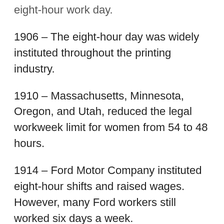eight-hour work day.
1906 – The eight-hour day was widely instituted throughout the printing industry.
1910 – Massachusetts, Minnesota, Oregon, and Utah, reduced the legal workweek limit for women from 54 to 48 hours.
1914 – Ford Motor Company instituted eight-hour shifts and raised wages. However, many Ford workers still worked six days a week.
1916 – Congress passed the Adamson Act, a federal law that established an eight-